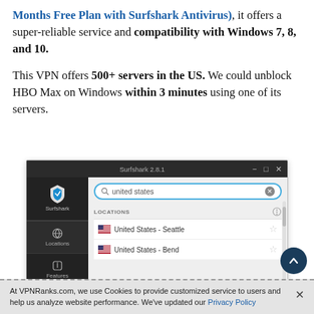Months Free Plan with Surfshark Antivirus), it offers a super-reliable service and compatibility with Windows 7, 8, and 10.
This VPN offers 500+ servers in the US. We could unblock HBO Max on Windows within 3 minutes using one of its servers.
[Figure (screenshot): Surfshark VPN desktop application screenshot showing search for 'united states' with results listing United States - Seattle and United States - Bend]
At VPNRanks.com, we use Cookies to provide customized service to users and help us analyze website performance. We've updated our Privacy Policy